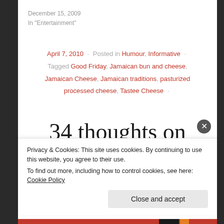December 15, 2009
In "Entertainment"
April 7, 2010 · Posted in Humour, Informative · Tagged Good Friday, Jamaican bun and cheese, Jamaican Cheese, Jamaican traditions, pasturized processed cheese, Tastee Cheese ·
34 thoughts on
Privacy & Cookies: This site uses cookies. By continuing to use this website, you agree to their use.
To find out more, including how to control cookies, see here: Cookie Policy
Close and accept